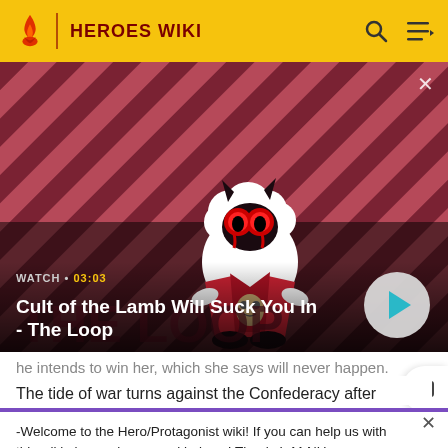HEROES WIKI
[Figure (screenshot): Video thumbnail showing animated lamb character from 'Cult of the Lamb' game on a red diagonal striped background. Text overlay: WATCH • 03:03 and title 'Cult of the Lamb Will Suck You In - The Loop'. Play button visible on right.]
he intends to win her, which she says will never happen.
The tide of war turns against the Confederacy after
-Welcome to the Hero/Protagonist wiki! If you can help us with this wiki please sign up and help us! Thanks! -M-NUva